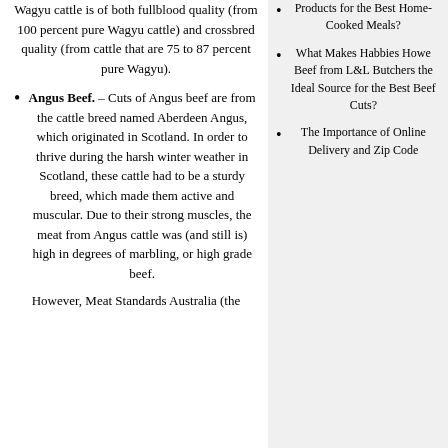Wagyu cattle is of both fullblood quality (from 100 percent pure Wagyu cattle) and crossbred quality (from cattle that are 75 to 87 percent pure Wagyu).
Angus Beef. – Cuts of Angus beef are from the cattle breed named Aberdeen Angus, which originated in Scotland. In order to thrive during the harsh winter weather in Scotland, these cattle had to be a sturdy breed, which made them active and muscular. Due to their strong muscles, the meat from Angus cattle was (and still is) high in degrees of marbling, or high grade beef.
However, Meat Standards Australia (the
Products for the Best Home-Cooked Meals?
What Makes Habbies Howe Beef from L&L Butchers the Ideal Source for the Best Beef Cuts?
The Importance of Online Delivery and Zip Code